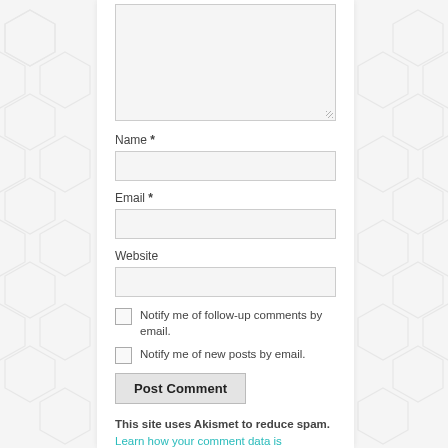Comment textarea (form field)
Name *
Email *
Website
Notify me of follow-up comments by email.
Notify me of new posts by email.
Post Comment
This site uses Akismet to reduce spam. Learn how your comment data is processed.